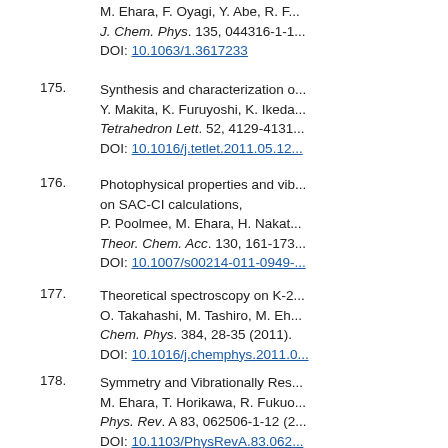M. Ehara, F. Oyagi, Y. Abe, R. F... J. Chem. Phys. 135, 044316-1-1... DOI: 10.1063/1.3617233
175. Synthesis and characterization o... Y. Makita, K. Furuyoshi, K. Ikeda... Tetrahedron Lett. 52, 4129-4131... DOI: 10.1016/j.tetlet.2011.05.12...
176. Photophysical properties and vib... on SAC-CI calculations, P. Poolmee, M. Ehara, H. Nakat... Theor. Chem. Acc. 130, 161-173... DOI: 10.1007/s00214-011-0949-...
177. Theoretical spectroscopy on K-2... O. Takahashi, M. Tashiro, M. Eh... Chem. Phys. 384, 28-35 (2011). DOI: 10.1016/j.chemphys.2011....
178. Symmetry and Vibrationally Res... M. Ehara, T. Horikawa, R. Fukuo... Phys. Rev. A 83, 062506-1-12 (2... DOI: 10.1103/PhysRevA.83.062...